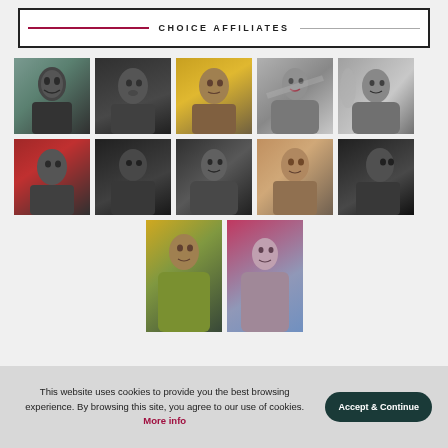CHOICE AFFILIATES
[Figure (photo): Grid of 12 celebrity portrait photos arranged in 3 rows of 5, 5, and 2 photos. Row 1: male actor laughing (B&W with color background), male actor (B&W), male actor (golden tones), female actress (B&W), female actress (B&W). Row 2: male actor (red background), male actor (B&W), female actress (B&W), male actor (color), male actor (B&W). Row 3: male actor (yellow jacket, color), female actress (pink/blue background, color).]
This website uses cookies to provide you the best browsing experience. By browsing this site, you agree to our use of cookies. More info